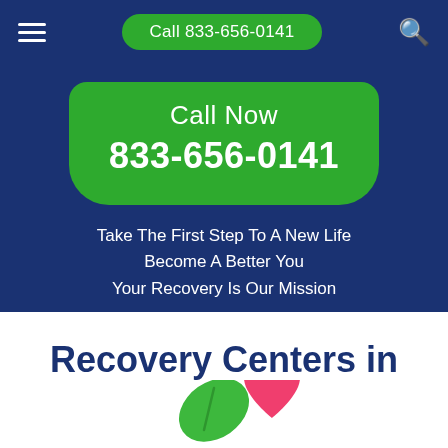Call 833-656-0141
Call Now
833-656-0141
Take The First Step To A New Life
Become A Better You
Your Recovery Is Our Mission
Recovery Centers in Hamburg, Iowa
[Figure (illustration): Pink heart and green leaf logo icon for a recovery center]